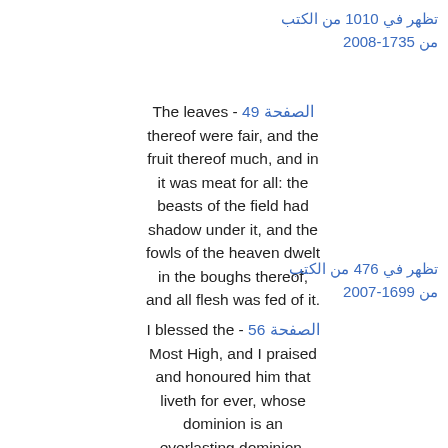تظهر في 1010 من الكتب من 1735-2008
The leaves - الصفحة 49 thereof were fair, and the fruit thereof much, and in it was meat for all: the beasts of the field had shadow under it, and the fowls of the heaven dwelt in the boughs thereof, and all flesh was fed of it.
تظهر في 476 من الكتب من 1699-2007
I blessed the - الصفحة 56 Most High, and I praised and honoured him that liveth for ever, whose dominion is an everlasting dominion, and his kingdom is from generation to generation: